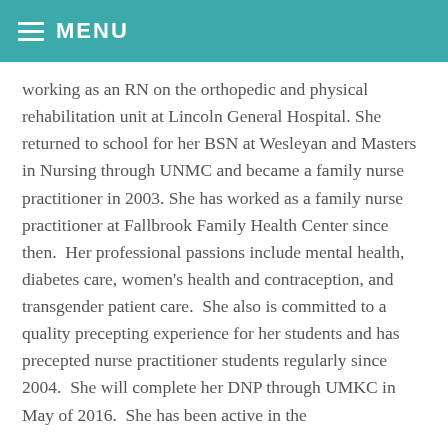MENU
working as an RN on the orthopedic and physical rehabilitation unit at Lincoln General Hospital. She returned to school for her BSN at Wesleyan and Masters in Nursing through UNMC and became a family nurse practitioner in 2003. She has worked as a family nurse practitioner at Fallbrook Family Health Center since then.  Her professional passions include mental health, diabetes care, women's health and contraception, and transgender patient care.  She also is committed to a quality precepting experience for her students and has precepted nurse practitioner students regularly since 2004.  She will complete her DNP through UMKC in May of 2016.  She has been active in the